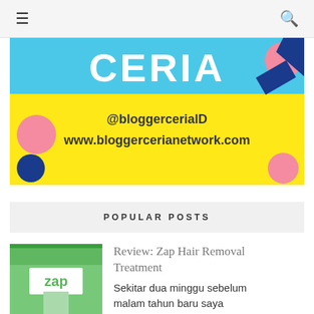≡  🔍
[Figure (illustration): Blogger Ceria advertisement banner with yellow and blue background, showing text 'CERIA', '@bloggerceriaID', and 'www.bloggercerianetwork.com' with colorful geometric shapes]
POPULAR POSTS
[Figure (photo): Thumbnail photo of ZAP clinic storefront with green facade and ZAP logo]
Review: Zap Hair Removal Treatment
Sekitar dua minggu sebelum malam tahun baru saya menyempatkan diri untuk datang ke klinik Zap dalam rangka mencoba salah satu